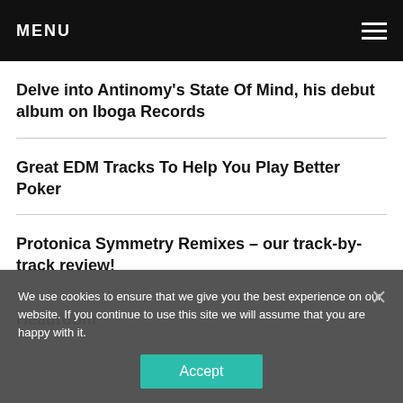MENU
Delve into Antinomy’s State Of Mind, his debut album on Iboga Records
Great EDM Tracks To Help You Play Better Poker
Protonica Symmetry Remixes – our track-by-track review!
...Headroom
We use cookies to ensure that we give you the best experience on our website. If you continue to use this site we will assume that you are happy with it.